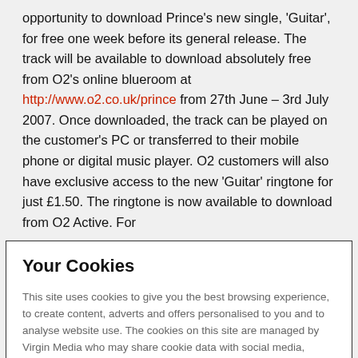opportunity to download Prince's new single, 'Guitar', for free one week before its general release. The track will be available to download absolutely free from O2's online blueroom at http://www.o2.co.uk/prince from 27th June – 3rd July 2007. Once downloaded, the track can be played on the customer's PC or transferred to their mobile phone or digital music player. O2 customers will also have exclusive access to the new 'Guitar' ringtone for just £1.50. The ringtone is now available to download from O2 Active. For
Your Cookies
This site uses cookies to give you the best browsing experience, to create content, adverts and offers personalised to you and to analyse website use. The cookies on this site are managed by Virgin Media who may share cookie data with social media, advertising and analytics partners Click 'Accept and continue to site' if you're happy with these cookies. If you're under 12, you'll need a parent or guardian to provide consent to continue. Click 'Manage cookie preferences' to customise your cookie settings. For more details, see the cookie policy